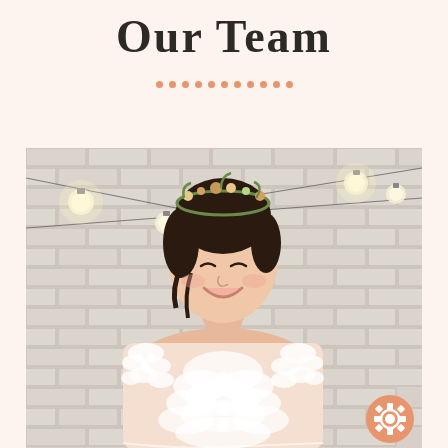Our Team
[Figure (photo): A smiling bride wearing a sheer lace wedding dress and a floral crown, standing in front of a white brick wall decorated with string lights. The photo is taken from waist up. An orange gear/settings icon appears in the bottom right corner of the photo.]